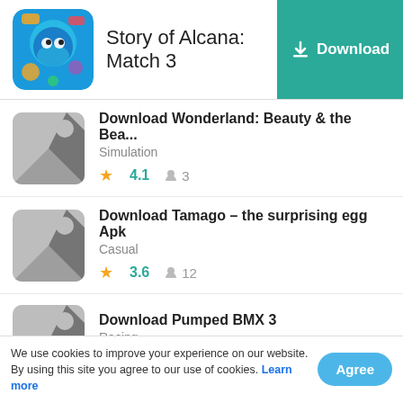Story of Alcana: Match 3 — Download
Download Wonderland: Beauty & the Bea...
Simulation
★ 4.1  👤 3
Download Tamago – the surprising egg Apk
Casual
★ 3.6  👤 12
Download Pumped BMX 3
Racing
★ 3.8  👤 16
We use cookies to improve your experience on our website. By using this site you agree to our use of cookies. Learn more